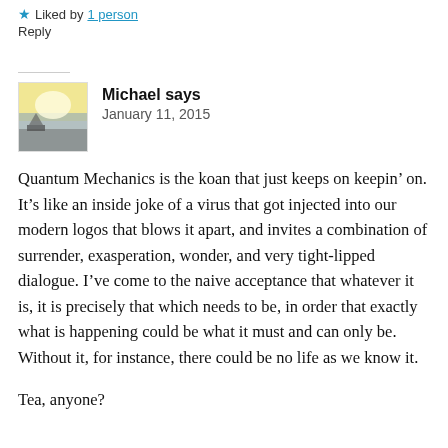★ Liked by 1 person
Reply
Michael says
January 11, 2015
Quantum Mechanics is the koan that just keeps on keepin' on. It's like an inside joke of a virus that got injected into our modern logos that blows it apart, and invites a combination of surrender, exasperation, wonder, and very tight-lipped dialogue. I've come to the naive acceptance that whatever it is, it is precisely that which needs to be, in order that exactly what is happening could be what it must and can only be. Without it, for instance, there could be no life as we know it.
Tea, anyone?